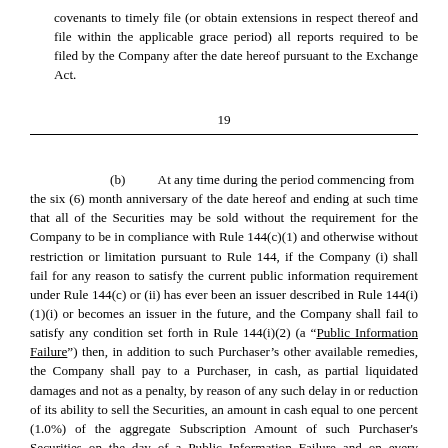covenants to timely file (or obtain extensions in respect thereof and file within the applicable grace period) all reports required to be filed by the Company after the date hereof pursuant to the Exchange Act.
19
(b) At any time during the period commencing from the six (6) month anniversary of the date hereof and ending at such time that all of the Securities may be sold without the requirement for the Company to be in compliance with Rule 144(c)(1) and otherwise without restriction or limitation pursuant to Rule 144, if the Company (i) shall fail for any reason to satisfy the current public information requirement under Rule 144(c) or (ii) has ever been an issuer described in Rule 144(i)(1)(i) or becomes an issuer in the future, and the Company shall fail to satisfy any condition set forth in Rule 144(i)(2) (a "Public Information Failure") then, in addition to such Purchaser's other available remedies, the Company shall pay to a Purchaser, in cash, as partial liquidated damages and not as a penalty, by reason of any such delay in or reduction of its ability to sell the Securities, an amount in cash equal to one percent (1.0%) of the aggregate Subscription Amount of such Purchaser's Securities on the day of a Public Information Failure and on every thirtieth (30th) day (pro rated for periods totaling less than thirty days) thereafter until the earlier of